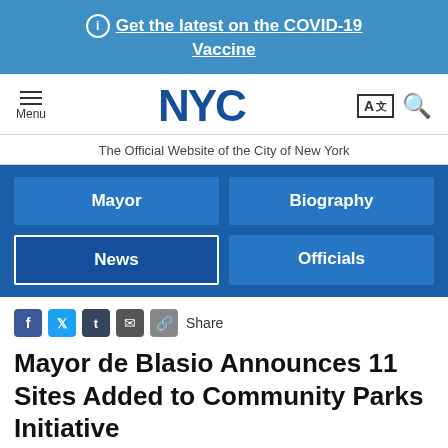ⓘ Get the latest on the COVID-19 Vaccine
[Figure (logo): NYC government website navigation bar with hamburger menu, NYC logo in blue, language selector (AZ), and search icon]
The Official Website of the City of New York
[Figure (infographic): Blue navigation menu with four buttons: Mayor, Biography, News (active/outlined), Officials]
Share
Mayor de Blasio Announces 11 Sites Added to Community Parks Initiative
September 25, 2017